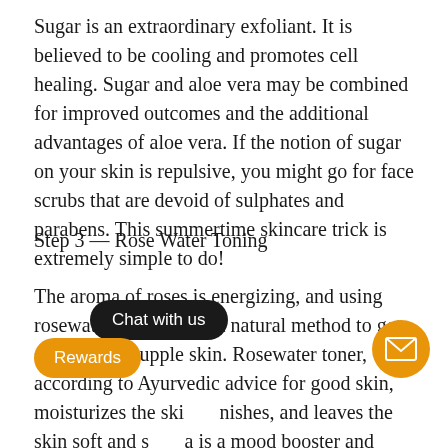Sugar is an extraordinary exfoliant. It is believed to be cooling and promotes cell healing. Sugar and aloe vera may be combined for improved outcomes and the additional advantages of aloe vera. If the notion of sugar on your skin is repulsive, you might go for face scrubs that are devoid of sulphates and parabens. This summertime skincare trick is extremely simple to do!
Step 3 — Rose Water Toning
The aroma of roses is energizing, and using rosewater as a toner is a natural method to get smooth and supple skin. Rosewater toner, according to Ayurvedic advice for good skin, moisturizes the ski[...]nishes, and leaves the skin soft and s[...]a is a mood booster and pre[...] need to enter a state of relaxation. Als[...] effective toners include aloe vera and essential oils